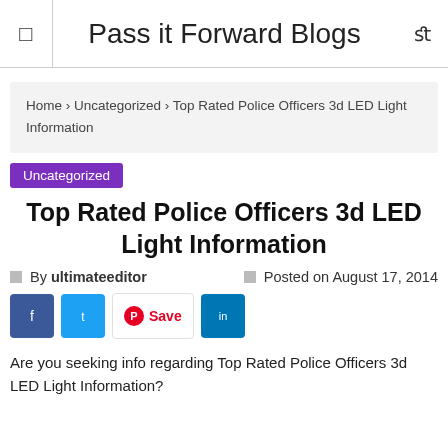Pass it Forward Blogs
Home › Uncategorized › Top Rated Police Officers 3d LED Light Information
Uncategorized
Top Rated Police Officers 3d LED Light Information
By ultimateeditor   Posted on August 17, 2014
Are you seeking info regarding Top Rated Police Officers 3d LED Light Information?